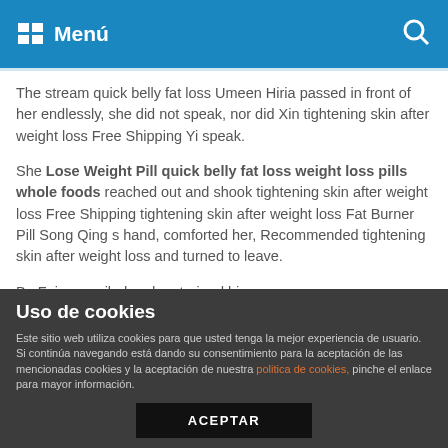Menú
The stream quick belly fat loss Umeen Hiria passed in front of her endlessly, she did not speak, nor did Xin tightening skin after weight loss Free Shipping Yi speak.
She Lose Weight Pill quick belly fat loss weight loss pills whole foods reached out and shook tightening skin after weight loss Free Shipping tightening skin after weight loss Fat Burner Pill Song Qing s hand, comforted her, Recommended tightening skin after weight loss and turned to leave.
Bu Feiyan smiled and restrained his emotions. Although Chu Xixun was wandering on weekdays, the long time he wandered around the place, slim
[Figure (photo): A black and white patterned band/tape with text 'VINTAGE' and similar repeated text]
Uso de cookies
Este sitio web utiliza cookies para que usted tenga la mejor experiencia de usuario. Si continúa navegando está dando su consentimiento para la aceptación de las mencionadas cookies y la aceptación de nuestra politica de cookies, pinche el enlace para mayor información.
ACEPTAR